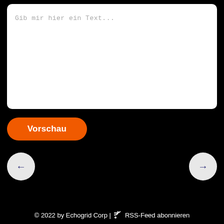Gib mir hier ein Text...
Vorschau
←
→
© 2022 by Echogrid Corp | RSS-Feed abonnieren